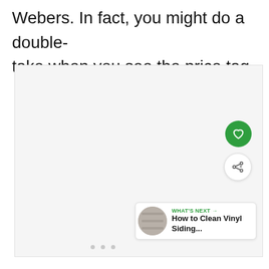Webers. In fact, you might do a double-take when you see the price tag.
[Figure (other): A light gray image placeholder area with three small gray dots centered in the middle, and UI overlay elements including a green heart/favorite button, a white share button, and a 'What's Next' card linking to 'How to Clean Vinyl Siding...' with a thumbnail image of vinyl siding.]